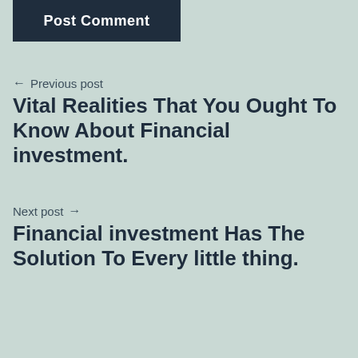Post Comment
← Previous post
Vital Realities That You Ought To Know About Financial investment.
Next post →
Financial investment Has The Solution To Every little thing.